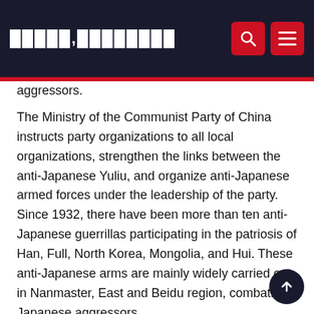█████,████████
aggressors.
The Ministry of the Communist Party of China instructs party organizations to all local organizations, strengthen the links between the anti-Japanese Yuliu, and organize anti-Japanese armed forces under the leadership of the party. Since 1932, there have been more than ten anti-Japanese guerrillas participating in the patriosis of Han, Full, North Korea, Mongolia, and Hui. These anti-Japanese arms are mainly widely carried out in Nanmaster, East and Beidu region, combating Japanese aggressors.
The picture shows the 4th Army New Japanese...